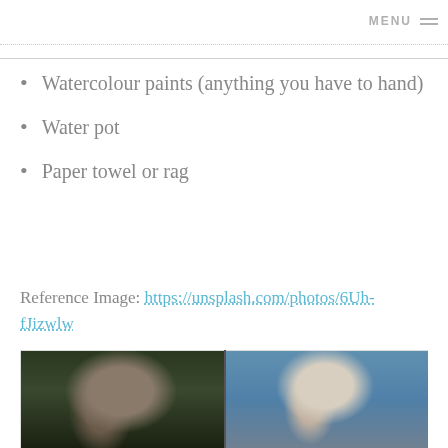MENU
Watercolour paints (anything you have to hand)
Water pot
Paper towel or rag
Reference Image: https://unsplash.com/photos/6Uh-fJizwlw
[Figure (photo): Side-by-side comparison of a bighorn ram photograph (left, dark nature photo) and a watercolour painting of the same ram (right, blue-green background)]